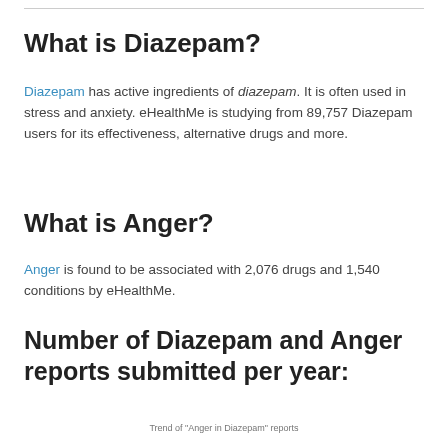What is Diazepam?
Diazepam has active ingredients of diazepam. It is often used in stress and anxiety. eHealthMe is studying from 89,757 Diazepam users for its effectiveness, alternative drugs and more.
What is Anger?
Anger is found to be associated with 2,076 drugs and 1,540 conditions by eHealthMe.
Number of Diazepam and Anger reports submitted per year:
Trend of "Anger in Diazepam" reports